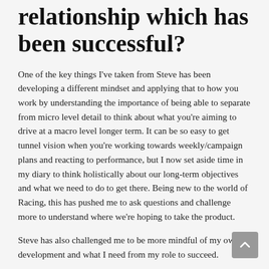relationship which has been successful?
One of the key things I've taken from Steve has been developing a different mindset and applying that to how you work by understanding the importance of being able to separate from micro level detail to think about what you're aiming to drive at a macro level longer term. It can be so easy to get tunnel vision when you're working towards weekly/campaign plans and reacting to performance, but I now set aside time in my diary to think holistically about our long-term objectives and what we need to do to get there. Being new to the world of Racing, this has pushed me to ask questions and challenge more to understand where we're hoping to take the product.
Steve has also challenged me to be more mindful of my own development and what I need from my role to succeed.
After being a mentor, what tips would you give...